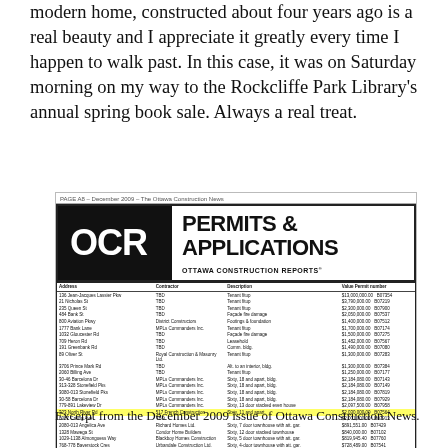modern home, constructed about four years ago is a real beauty and I appreciate it greatly every time I happen to walk past. In this case, it was on Saturday morning on my way to the Rockcliffe Park Library's annual spring book sale. Always a real treat.
[Figure (screenshot): Scanned excerpt from the December 2009 issue of Ottawa Construction News showing an OCR Permits & Applications listing with a table of addresses, contractors, descriptions, values and permit numbers. One row is highlighted in yellow for 323 North River Rd with contractor 517 French Construction.]
Excerpt from the December 2009 issue of Ottawa Construction News.